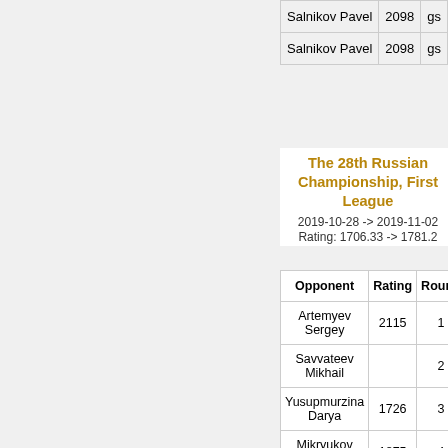| Opponent | Rating | Round |
| --- | --- | --- |
| Salnikov Pavel | 2098 | gs |
| Salnikov Pavel | 2098 | gs |
The 28th Russian Championship, First League
2019-10-28 -> 2019-11-02
Rating: 1706.33 -> 1781.2
| Opponent | Rating | Round |
| --- | --- | --- |
| Artemyev Sergey | 2115 | 1 |
| Savvateev Mikhail |  | 2 |
| Yusupmurzina Darya | 1726 | 3 |
| Mikryukov Mikhail | 1875 | 4 |
| Balabhai Viktor | 1957 | 5 |
| Karasyov Maxim | 2259 | 6 |
| Barykin Victor | 1941 | 7 |
| Lisyutin Alexander | 1843 | 8 |
| Salnikov Pavel | 2127 | 9 |